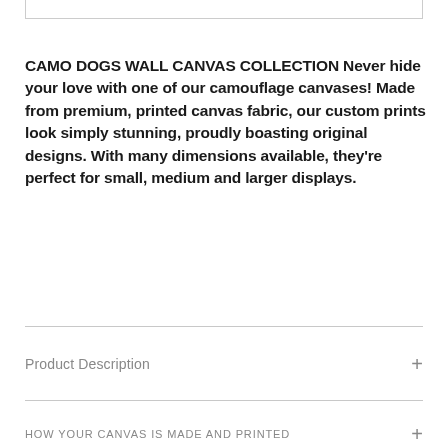CAMO DOGS WALL CANVAS COLLECTION Never hide your love with one of our camouflage canvases! Made from premium, printed canvas fabric, our custom prints look simply stunning, proudly boasting original designs. With many dimensions available, they're perfect for small, medium and larger displays.
Product Description
HOW YOUR CANVAS IS MADE AND PRINTED